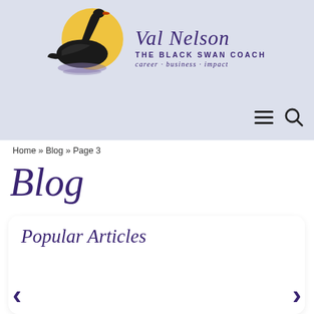[Figure (logo): Val Nelson The Black Swan Coach logo featuring a black swan on a golden circle with purple brand text reading 'Val Nelson THE BLACK SWAN COACH career · business · impact']
≡  🔍
Home » Blog » Page 3
Blog
Popular Articles